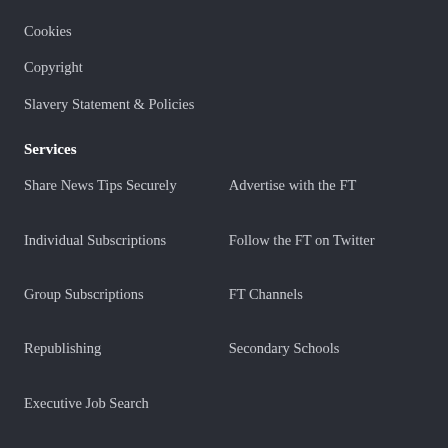Cookies
Copyright
Slavery Statement & Policies
Services
Share News Tips Securely
Advertise with the FT
Individual Subscriptions
Follow the FT on Twitter
Group Subscriptions
FT Channels
Republishing
Secondary Schools
Executive Job Search
Tools
Portfolio
Enterprise Tools
Today's Newspaper (ePaper)
News feed